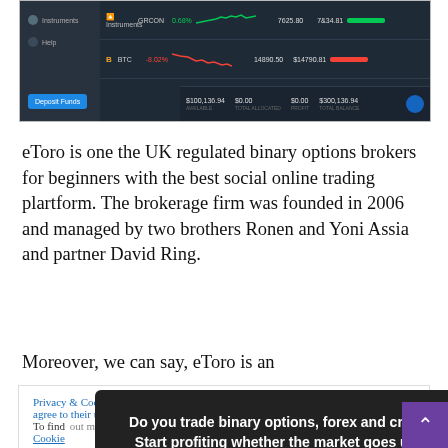[Figure (screenshot): eToro trading platform screenshot showing cryptocurrency trading interface with BTC row showing -8.02% and a green bar, balance showing $100,136.94, with sidebar navigation and Deposit Funds button]
eToro is one the UK regulated binary options brokers for beginners with the best social online trading plartform. The brokerage firm was founded in 2006 and managed by two brothers Ronen and Yoni Assia and partner David Ring.
Moreover, we can say, eToro is an
Privacy & Cookies: This site uses cookies. By continuing to use this website, you agree to their use.
To find out more, including how to control cookies, see here: Cookie
Do you trade binary options, forex and crypto? Start profiting whether the market goes up or down with a good trading robots
Reply
than                                          offers